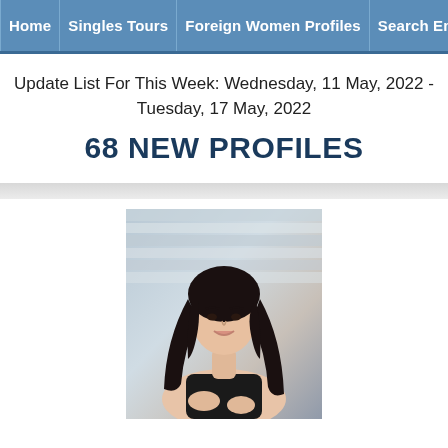Home | Singles Tours | Foreign Women Profiles | Search Engine | New
Update List For This Week: Wednesday, 11 May, 2022 - Tuesday, 17 May, 2022
68 NEW PROFILES
[Figure (photo): Portrait photo of a young woman with long black hair wearing a black strapless top, posed against a light-colored striped background]